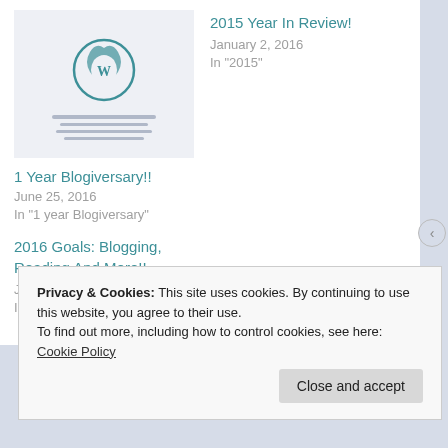[Figure (screenshot): WordPress logo on light blue/gray background thumbnail image]
2015 Year In Review!
January 2, 2016
In "2015"
1 Year Blogiversary!!
June 25, 2016
In "1 year Blogiversary"
2016 Goals: Blogging, Reading And More!!
January 2, 2016
In "2016"
Privacy & Cookies: This site uses cookies. By continuing to use this website, you agree to their use.
To find out more, including how to control cookies, see here: Cookie Policy
Close and accept